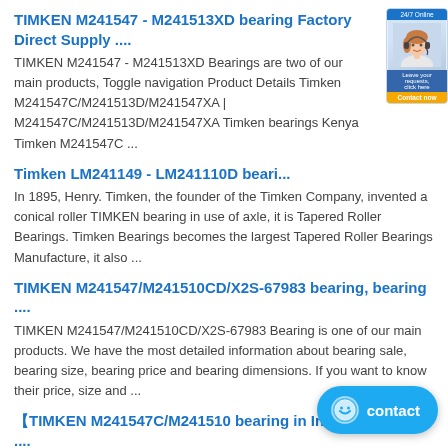TIMKEN M241547 - M241513XD bearing Factory Direct Supply ....
TIMKEN M241547 - M241513XD Bearings are two of our main products, Toggle navigation Product Details Timken M241547C/M241513D/M241547XA | M241547C/M241513D/M241547XA Timken bearings Kenya Timken M241547C ...
Timken LM241149 - LM241110D beari...
In 1895, Henry. Timken, the founder of the Timken Company, invented a conical roller TIMKEN bearing in use of axle, it is Tapered Roller Bearings. Timken Bearings becomes the largest Tapered Roller Bearings Manufacture, it also ...
TIMKEN M241547/M241510CD/X2S-67983 bearing, bearing ....
TIMKEN M241547/M241510CD/X2S-67983 Bearing is one of our main products. We have the most detailed information about bearing sale, bearing size, bearing price and bearing dimensions. If you want to know their price, size and ...
【TIMKEN M241547C/M241510 bearing in Indonesia】Best ....
Combined with the TIMKEN M241547C/M241510 bearing in Finland , TIMKEN M241547C/M241510 bearing in Indonesia Finland has the most complete product outline in rolling bearing industry
[Figure (photo): Customer service widget showing a woman with headset, with a 24/7 badge and a button]
[Figure (other): Blue chat/contact widget button in bottom right corner with smiley face icon and text 'contact']